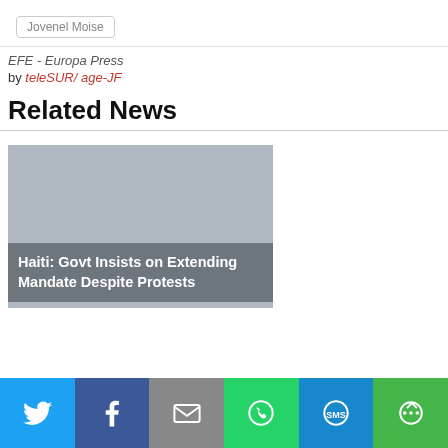Jovenel Moise
EFE - Europa Press
by teleSUR/ age-JF
Related News
[Figure (photo): News card image showing Haiti government news with overlay title: Haiti: Govt Insists on Extending Mandate Despite Protests]
Social share bar: Twitter, Facebook, Email, WhatsApp, SMS, More